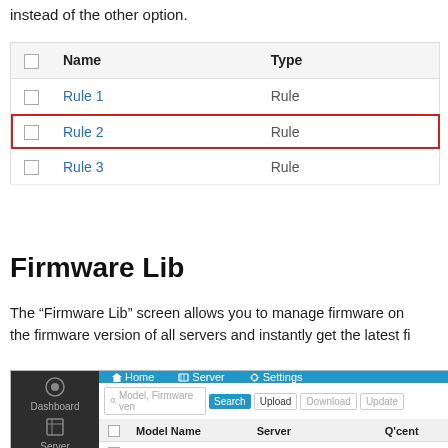instead of the other option.
|  | Name | Type |
| --- | --- | --- |
|  | Rule 1 | Rule |
|  | Rule 2 | Rule |
|  | Rule 3 | Rule |
Firmware Lib
The “Firmware Lib” screen allows you to manage firmware on the firmware version of all servers and instantly get the latest fi
[Figure (screenshot): Screenshot of Firmware Lib interface showing navigation sidebar with Dashboard and Server icons, blue top navigation bar with Home, Server, Settings, a search bar with Model/Firmware vendor input, Upload, Download, Update buttons, and a table listing TS-470 Pro with Eric-TS-470-A server entry.]